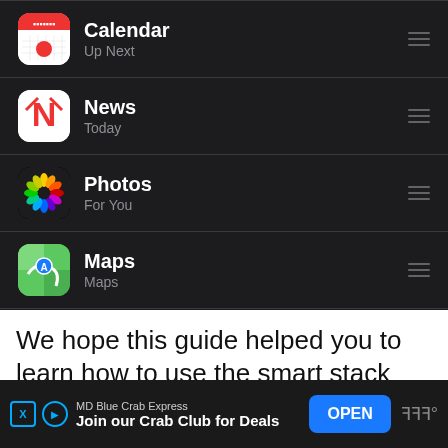[Figure (screenshot): iOS smart stack widget settings screen showing app list: Calendar (Up Next), News (Today), Photos (For You), Maps (Maps), each with app icon and hamburger reorder icon, dark background]
We hope this guide helped you to learn how to use the smart stack widget on your iPhone or iPad. If you have any questions, let us know in
[Figure (other): Advertisement banner for MD Blue Crab Express - Join our Crab Club for Deals, with OPEN button]